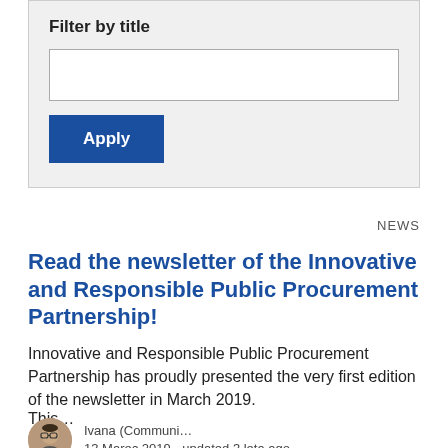Filter by title
[Figure (other): Text input field for filtering by title]
Apply
NEWS
Read the newsletter of the Innovative and Responsible Public Procurement Partnership!
Innovative and Responsible Public Procurement Partnership has proudly presented the very first edition of the newsletter in March 2019.
This…
Ivana (Communi…
13 Marec 2019 - updated 3 leta ago